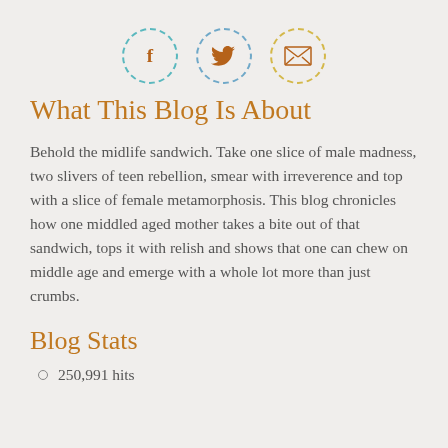[Figure (illustration): Three circular dashed-border icons in a row: Facebook (f) with teal border, Twitter bird with blue border, and email/envelope with yellow border. Icons are brown/dark gold color.]
What This Blog Is About
Behold the midlife sandwich. Take one slice of male madness, two slivers of teen rebellion, smear with irreverence and top with a slice of female metamorphosis. This blog chronicles how one middled aged mother takes a bite out of that sandwich, tops it with relish and shows that one can chew on middle age and emerge with a whole lot more than just crumbs.
Blog Stats
250,991 hits